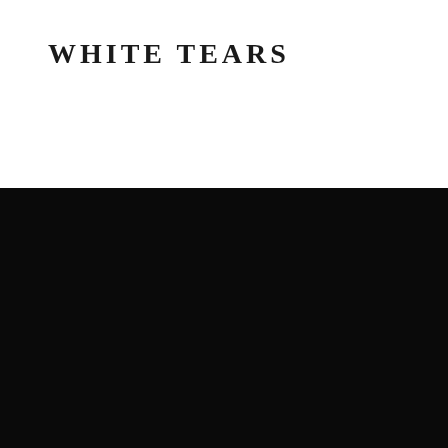WHITE TEARS
[Figure (logo): PORCEL logo with stylized double-P icon in a square border]
PORCEL S.A.
EN 235, KM16 - N.º 86
This site uses cookies for a better browsing experience. By continuing to browse, you consent to its use. Learn more in our
Cookie Policy
CLOSE